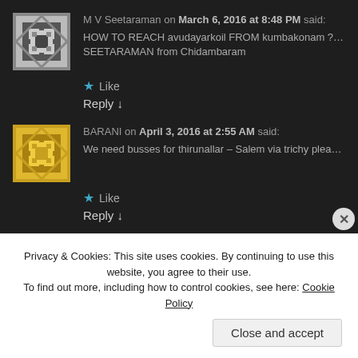M V Seetaraman on March 6, 2016 at 8:48 PM said:
HOW TO REACH avudayarkoil FROM kumbakonam ? WHAT ARE... SEETARAMAN from Chidambaram
Like
Reply ↓
BARANI on April 3, 2016 at 2:55 AM said:
We need busses for thirunallar – Salem via trichy please plan to op
Like
Reply ↓
Privacy & Cookies: This site uses cookies. By continuing to use this website, you agree to their use.
To find out more, including how to control cookies, see here: Cookie Policy
Close and accept